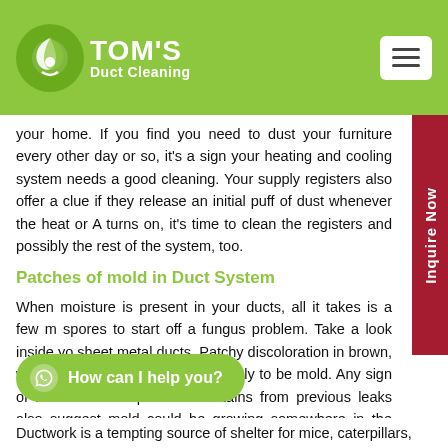TOM'S Duct Cleaning
your home. If you find you need to dust your furniture every other day or so, it's a sign your heating and cooling system needs a good cleaning. Your supply registers also offer a clue if they release an initial puff of dust whenever the heat or AC turns on, it's time to clean the registers and possibly the rest of the system, too.
Patches of mold in Duct System
When moisture is present in your ducts, all it takes is a few mold spores to start off a fungus problem. Take a look inside your sheet metal ducts. Patchy discoloration in brown, white, green or another color is likely to be mold. Any sign of moisture buildup or water stains from previous leaks also suggest mold could be growing somewhere in the ducts.
Ductwork is a tempting source of shelter for mice, caterpillars,